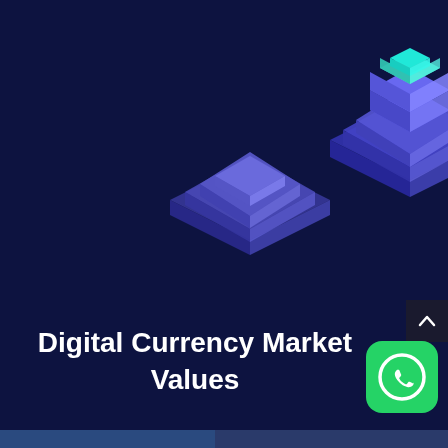[Figure (illustration): Isometric 3D blockchain/crypto platform illustration with two isometric towers/pedestals in blue and teal colors on a dark navy background]
Digital Currency Market Values